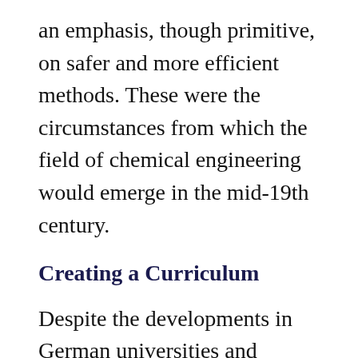an emphasis, though primitive, on safer and more efficient methods. These were the circumstances from which the field of chemical engineering would emerge in the mid-19th century.
Creating a Curriculum
Despite the developments in German universities and industry, education in chemistry and chemical engineering had not been formalized. Students obtained at best superficial knowledge about the new industrial chemical processes in their chemistry courses. The operation of